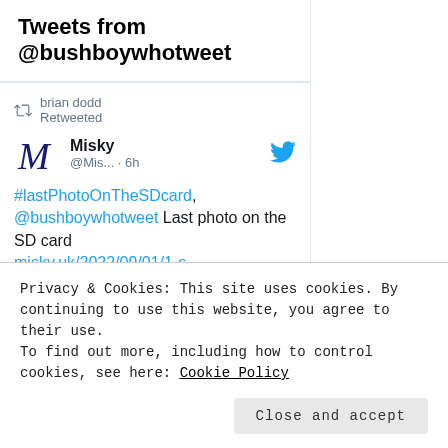Tweets from @bushboywhotweet
brian dodd Retweeted
Misky @Mis... · 6h
#lastPhotoOnTheSDcard, @bushboywhotweet Last photo on the SD card misky.uk/2022/09/01/1-s...
[Figure (photo): Blurred nature photo with green and brown tones, appears to be foliage and bark]
Privacy & Cookies: This site uses cookies. By continuing to use this website, you agree to their use.
To find out more, including how to control cookies, see here: Cookie Policy
Close and accept
the Card